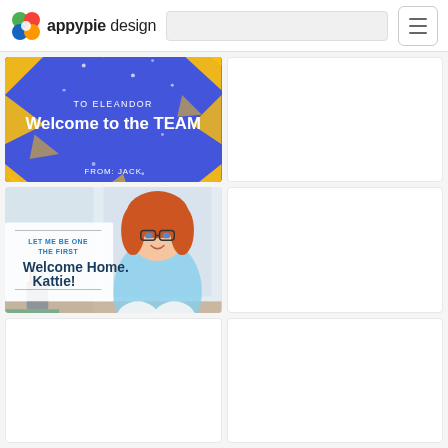appypie design
[Figure (illustration): Welcome card with blue background and yellow geometric triangles. Text reads 'TO ELEANDOR' and 'Welcome to the TEAM' and 'FROM: JACK']
[Figure (photo): Empty white card placeholder]
[Figure (photo): Photo of a young red-haired girl with glasses sitting cross-legged on a desk. Text overlay reads 'LET ME BE ONE THE FIRST' and 'Welcome Home. Kattie!']
[Figure (photo): Empty white card placeholder]
[Figure (photo): Empty white card placeholder]
[Figure (photo): Empty white card placeholder]